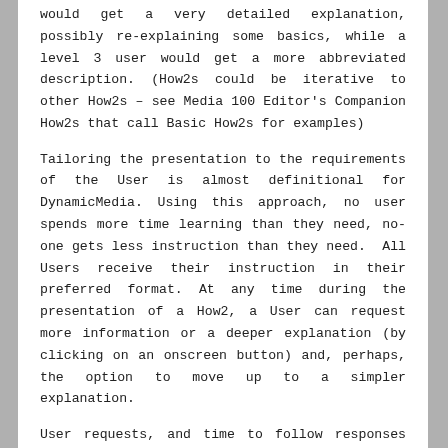would get a very detailed explanation, possibly re-explaining some basics, while a level 3 user would get a more abbreviated description. (How2s could be iterative to other How2s – see Media 100 Editor's Companion How2s that call Basic How2s for examples)
Tailoring the presentation to the requirements of the User is almost definitional for DynamicMedia. Using this approach, no user spends more time learning than they need, no-one gets less instruction than they need.  All Users receive their instruction in their preferred format. At any time during the presentation of a How2, a User can request more information or a deeper explanation (by clicking on an onscreen button) and, perhaps, the option to move up to a simpler explanation.
User requests, and time to follow responses will be tracked so, if a User habitually asked for deeper explanations, they would be de-rated to a lower User Skill Rating by FCCOL.  It is preferable that the level be adjusted (either up or down) by FCCOL than Users